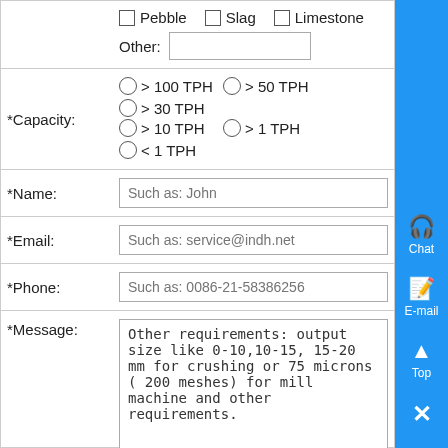| Pebble / Slag / Limestone / Other: |  |
| *Capacity: | > 100 TPH / > 50 TPH / > 30 TPH / > 10 TPH / > 1 TPH / < 1 TPH |
| *Name: | Such as: John |
| *Email: | Such as: service@indh.net |
| *Phone: | Such as: 0086-21-58386256 |
| *Message: | Other requirements: output size like 0-10,10-15, 15-20 mm for crushing or 75 microns ( 200 meshes) for mill machine and other requirements. |
|  | Submit |